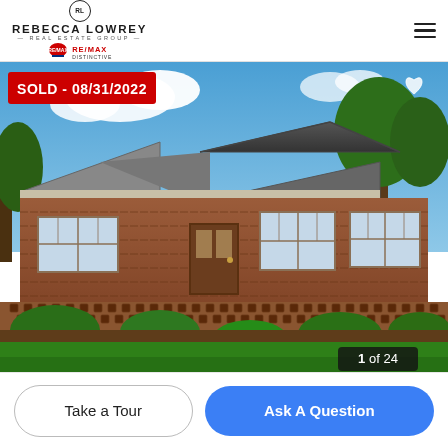Rebecca Lowrey Real Estate Group - RE/MAX Distinctive
[Figure (photo): Exterior photo of a single-story brick ranch house with large windows, covered porch, decorative lattice brick fencing, manicured shrubs and green lawn under blue sky. Overlay badge reads SOLD - 08/31/2022. Photo counter shows 1 of 24.]
Take a Tour
Ask A Question